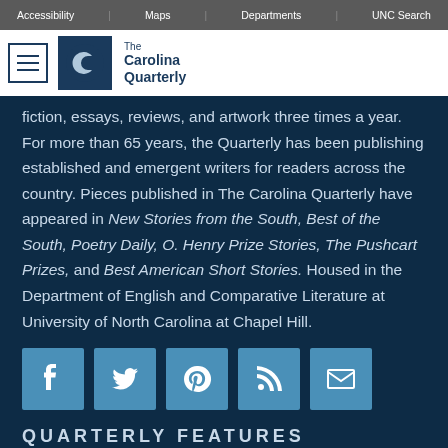Accessibility | Maps | Departments | UNC Search
[Figure (logo): The Carolina Quarterly logo with hamburger menu icon, circular C logo on dark navy background, and text 'The Carolina Quarterly']
fiction, essays, reviews, and artwork three times a year. For more than 65 years, the Quarterly has been publishing established and emergent writers for readers across the country. Pieces published in The Carolina Quarterly have appeared in New Stories from the South, Best of the South, Poetry Daily, O. Henry Prize Stories, The Pushcart Prizes, and Best American Short Stories. Housed in the Department of English and Comparative Literature at University of North Carolina at Chapel Hill.
[Figure (infographic): Social media icons row: Facebook, Twitter, Pinterest, RSS feed, Email]
QUARTERLY FEATURES